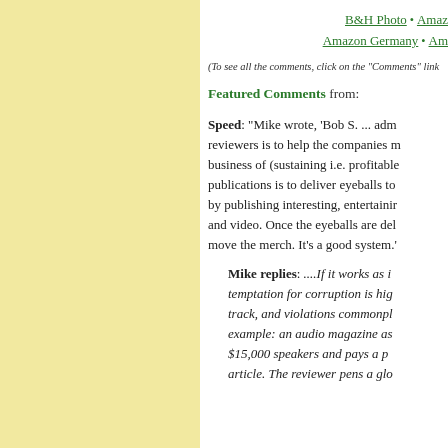B&H Photo • Amazon Germany •
(To see all the comments, click on the "Comments" link
Featured Comments from:
Speed: "Mike wrote, 'Bob S. ... adm reviewers is to help the companies m business of (sustaining i.e. profitable publications is to deliver eyeballs to by publishing interesting, entertainin and video. Once the eyeballs are del move the merch. It's a good system.'"
Mike replies: ....If it works as i temptation for corruption is hig track, and violations commonpl example: an audio magazine as $15,000 speakers and pays a p article. The reviewer pens a glo